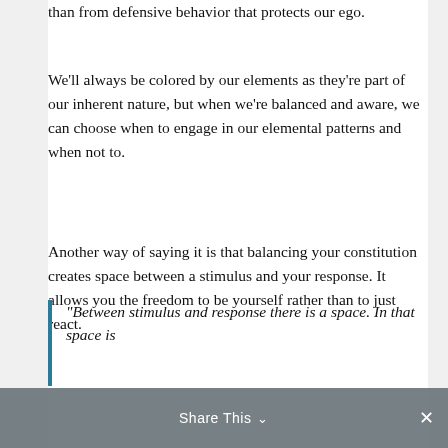than from defensive behavior that protects our ego.
We'll always be colored by our elements as they're part of our inherent nature, but when we're balanced and aware, we can choose when to engage in our elemental patterns and when not to.
Another way of saying it is that balancing your constitution creates space between a stimulus and your response. It allows you the freedom to be yourself rather than to just react.
"Between stimulus and response there is a space. In that space is
Share This